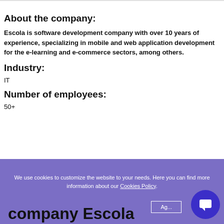About the company:
Escola is software development company with over 10 years of experience, specializing in mobile and web application development for the e-learning and e-commerce sectors, among others.
Industry:
IT
Number of employees:
50+
We use cookies to customize the website to your needs. Here you can find more information about our Cookies Policy.
company Escola